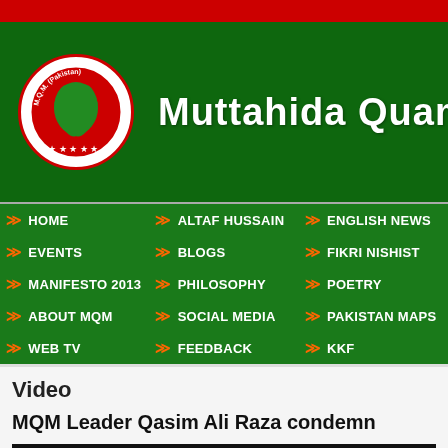[Figure (logo): MQM Pakistan logo - circular emblem with Pakistan map]
Muttahida Quami M
HOME
ALTAF HUSSAIN
ENGLISH NEWS
EVENTS
BLOGS
FIKRI NISHIST
MANIFESTO 2013
PHILOSOPHY
POETRY
ABOUT MQM
SOCIAL MEDIA
PAKISTAN MAPS
WEB TV
FEEDBACK
KKF
Video
MQM Leader Qasim Ali Raza condemn
[Figure (screenshot): Black video thumbnail player]